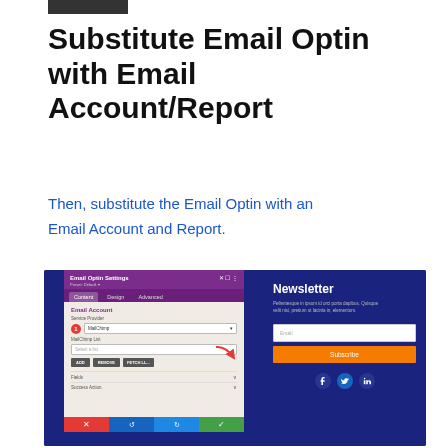Substitute Email Optin with Email Account/Report
Then, substitute the Email Optin with an Email Account and Report.
[Figure (screenshot): Screenshot of a website builder interface showing Email Optin Settings panel on the left with Email Account, Service Provider (MailChimp), MailChimp List fields, and action buttons (ADD, REMOVE, FETCH LL...), Fields and Success Action dropdowns, and bottom action bar with colored buttons. On the right, a navy blue Newsletter widget preview showing title 'Newsletter', descriptive text, an Email input field, a Subscribe button, and social media icon circles.]